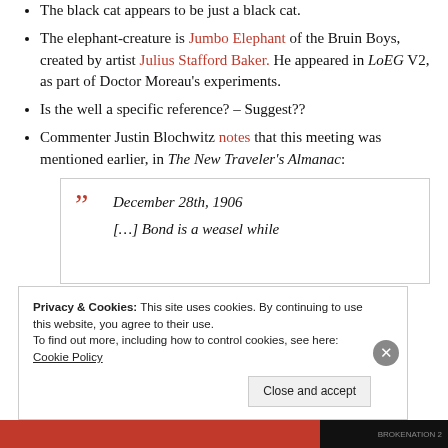The black cat appears to be just a black cat.
The elephant-creature is Jumbo Elephant of the Bruin Boys, created by artist Julius Stafford Baker. He appeared in LoEG V2, as part of Doctor Moreau's experiments.
Is the well a specific reference? – Suggest??
Commenter Justin Blochwitz notes that this meeting was mentioned earlier, in The New Traveler's Almanac:
December 28th, 1906 […] Bond is a weasel while
Privacy & Cookies: This site uses cookies. By continuing to use this website, you agree to their use. To find out more, including how to control cookies, see here: Cookie Policy
Close and accept